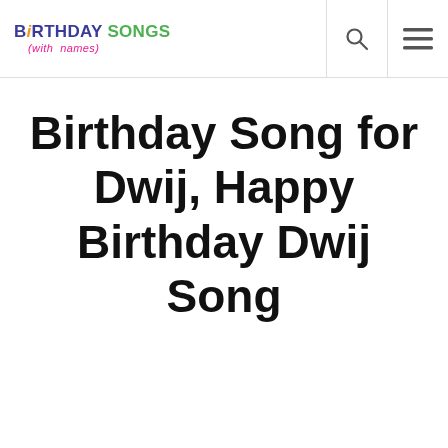BIRTHDAY SONGS (with names)
Birthday Song for Dwij, Happy Birthday Dwij Song